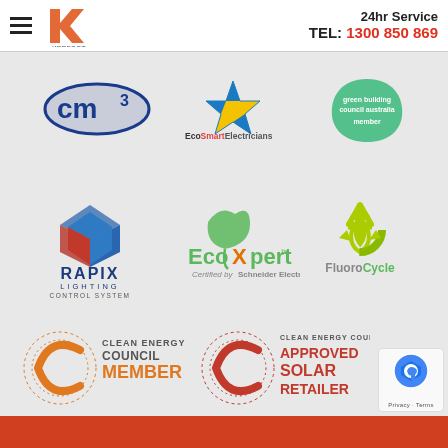24hr Service TEL: 1300 850 869
[Figure (logo): CM3 logo - blue oval with cm3 text and superscript 3]
[Figure (logo): EcoSmart Electricians logo - yellow and blue star with text 'Connecting you to a new sustainable future']
[Figure (logo): Green Building Council Australia Member logo - green leaf shape]
[Figure (logo): RAPIX Lighting Control System logo - red and blue geometric cube]
[Figure (logo): EcoXpert Certified by Schneider Electric logo - green leaf]
[Figure (logo): FluoroCycle logo - recycling arrows in yellow-green]
[Figure (logo): Clean Energy Council Member logo - orange C with dotted circle]
[Figure (logo): Clean Energy Council Approved Solar Retailer logo - red C with dotted circle]